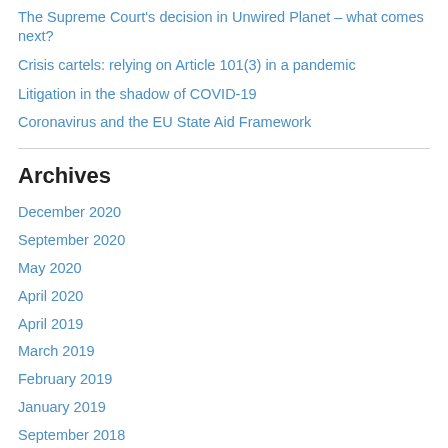The Supreme Court's decision in Unwired Planet – what comes next?
Crisis cartels: relying on Article 101(3) in a pandemic
Litigation in the shadow of COVID-19
Coronavirus and the EU State Aid Framework
Archives
December 2020
September 2020
May 2020
April 2020
April 2019
March 2019
February 2019
January 2019
September 2018
March 2018
December 2017
August 2017